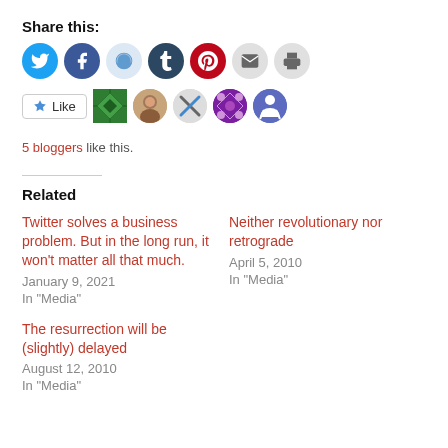Share this:
[Figure (infographic): A row of social media sharing icons: Twitter (blue circle), Facebook (blue circle), Reddit (light blue circle), Tumblr (dark blue circle), Pinterest (red circle), Email (light gray circle), Print (light gray circle)]
[Figure (infographic): Like button and 5 blogger avatar icons (green quilt pattern, woman photo, crossed tools, purple pattern, blue figure)]
5 bloggers like this.
Related
Twitter solves a business problem. But in the long run, it won't matter all that much.
January 9, 2021
In "Media"
Neither revolutionary nor retrograde
April 5, 2010
In "Media"
The resurrection will be (slightly) delayed
August 12, 2010
In "Media"